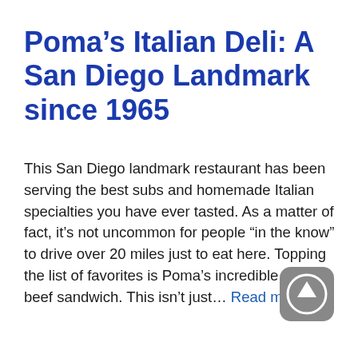Poma’s Italian Deli: A San Diego Landmark since 1965
This San Diego landmark restaurant has been serving the best subs and homemade Italian specialties you have ever tasted. As a matter of fact, it’s not uncommon for people “in the know” to drive over 20 miles just to eat here. Topping the list of favorites is Poma’s incredible roast beef sandwich. This isn’t just… Read more »
[Figure (other): Scroll-to-top button: rounded grey square with upward arrow icon]